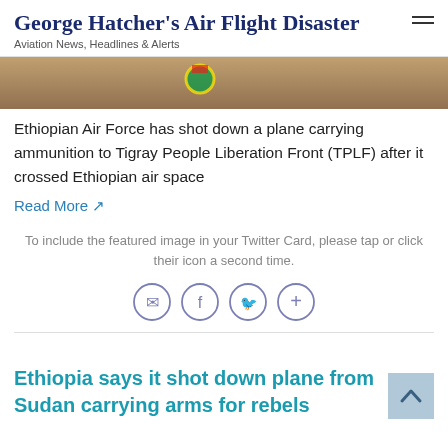George Hatcher's Air Flight Disaster
Aviation News, Headlines & Alerts
[Figure (photo): Partial image of a soldier or person in military attire with an Ethiopian flag patch visible, cropped at top of article]
Ethiopian Air Force has shot down a plane carrying ammunition to Tigray People Liberation Front (TPLF) after it crossed Ethiopian air space
Read More ↗
To include the featured image in your Twitter Card, please tap or click their icon a second time.
[Figure (infographic): Four circular share icons: email, Facebook, Twitter, and a plus/more button, styled with purple/indigo outlines]
Ethiopia says it shot down plane from Sudan carrying arms for rebels